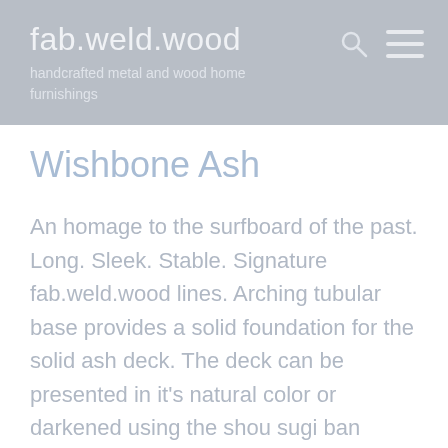fab.weld.wood
handcrafted metal and wood home furnishings
Wishbone Ash
An homage to the surfboard of the past. Long. Sleek. Stable. Signature fab.weld.wood lines. Arching tubular base provides a solid foundation for the solid ash deck. The deck can be presented in it's natural color or darkened using the shou sugi ban technique. The accent stripe is made off purpleheart and walnut. Steel or aluminum base. Typical